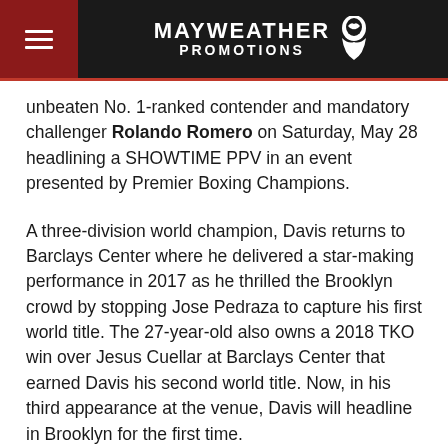[Figure (logo): Mayweather Promotions logo on dark header bar with red hamburger menu box on left]
unbeaten No. 1-ranked contender and mandatory challenger Rolando Romero on Saturday, May 28 headlining a SHOWTIME PPV in an event presented by Premier Boxing Champions.
A three-division world champion, Davis returns to Barclays Center where he delivered a star-making performance in 2017 as he thrilled the Brooklyn crowd by stopping Jose Pedraza to capture his first world title. The 27-year-old also owns a 2018 TKO win over Jesus Cuellar at Barclays Center that earned Davis his second world title. Now, in his third appearance at the venue, Davis will headline in Brooklyn for the first time.
Tickets for the live event, which is promoted by Mayweather Promotions, GTD Promotions and TGB Promotions, are on sale now and can be purchased through seatgeek.com and barclayscenter.com. Tickets will also be available for purchase at the American Express Box Office at